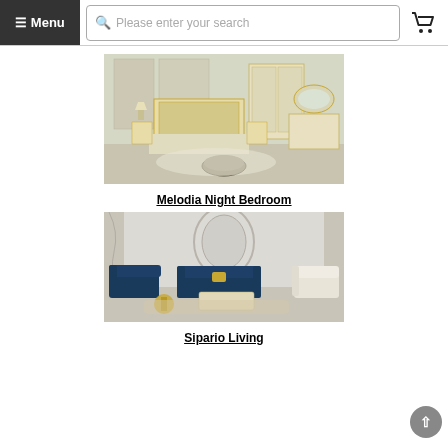≡ Menu  [search bar: Please enter your search]  [cart icon]
[Figure (photo): Luxury classical bedroom set with gold-trimmed wooden bed, matching wardrobe, dresser with oval mirror, and round ottoman in cream and gold tones.]
Melodia Night Bedroom
[Figure (photo): Elegant living room set featuring navy blue velvet sofas, cream armchairs, gold accent side tables, and a marble-look coffee table in a classical ornate interior.]
Sipario Living